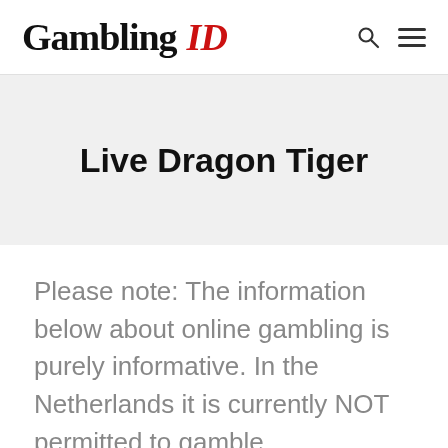Gambling ID
Live Dragon Tiger
Please note: The information below about online gambling is purely informative. In the Netherlands it is currently NOT permitted to gamble